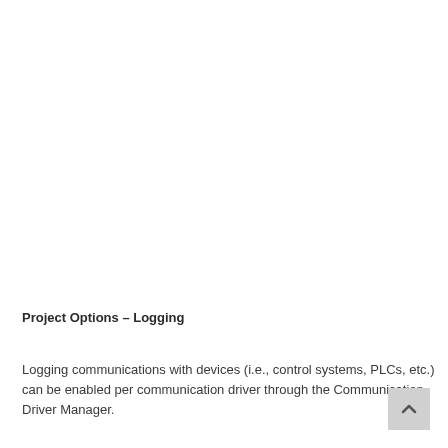Project Options – Logging
Logging communications with devices (i.e., control systems, PLCs, etc.) can be enabled per communication driver through the Communication Driver Manager.